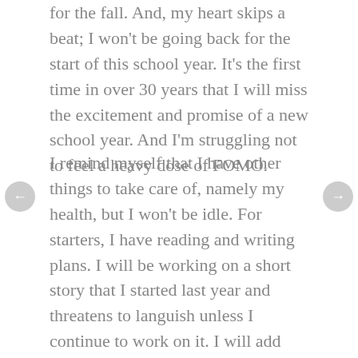for the fall. And, my heart skips a beat; I won't be going back for the start of this school year. It's the first time in over 30 years that I will miss the excitement and promise of a new school year. And I'm struggling not to feel a heavy dose of FOMO.
I remind myself that I have other things to take care of, namely my health, but I won't be idle. For starters, I have reading and writing plans. I will be working on a short story that I started last year and threatens to languish unless I continue to work on it. I will add weekly posts to my professional blog. I will write short columns for parents in my neighborhood magazine. I will read and read and read. The pile keeps getting larger every time I check Twitter.